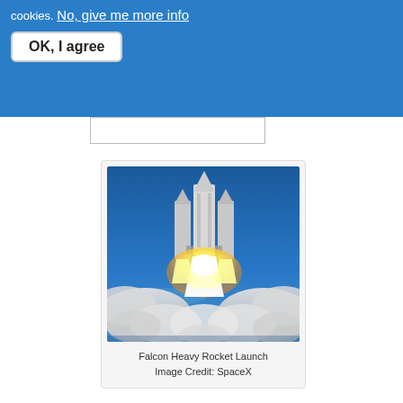cookies. No, give me more info
OK, I agree
[Figure (photo): Falcon Heavy rocket launching with bright engine flames and large smoke/steam clouds, against a blue sky]
Falcon Heavy Rocket Launch
Image Credit: SpaceX